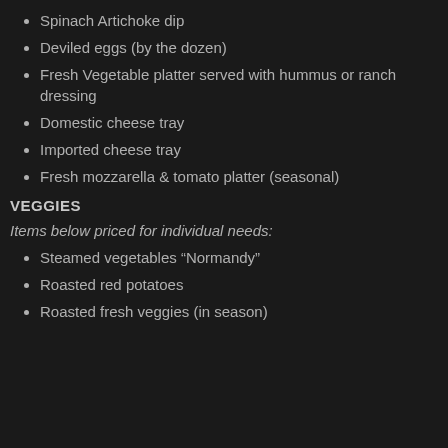Spinach Artichoke dip
Deviled eggs (by the dozen)
Fresh Vegetable platter served with hummus or ranch dressing
Domestic cheese tray
Imported cheese tray
Fresh mozzarella & tomato platter (seasonal)
VEGGIES
Items below priced for individual needs:
Steamed vegetables “Normandy”
Roasted red potatoes
Roasted fresh veggies (in season)